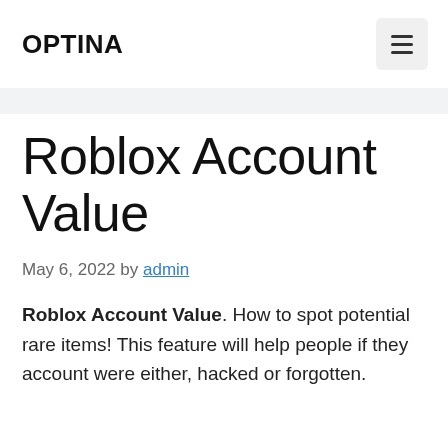OPTINA
Roblox Account Value
May 6, 2022 by admin
Roblox Account Value. How to spot potential rare items! This feature will help people if they account were either, hacked or forgotten.